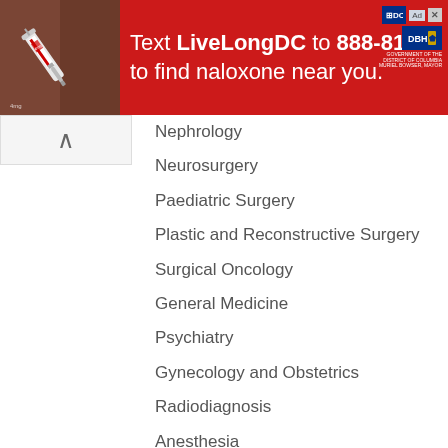[Figure (infographic): Red advertisement banner: 'Text LiveLongDC to 888-811 to find naloxone near you.' with DC and DBH logos and a photo of a syringe/naloxone package]
Nephrology
Neurosurgery
Paediatric Surgery
Plastic and Reconstructive Surgery
Surgical Oncology
General Medicine
Psychiatry
Gynecology and Obstetrics
Radiodiagnosis
Anesthesia
Anatomy
Botany
Zoology
Geology
Veterinary